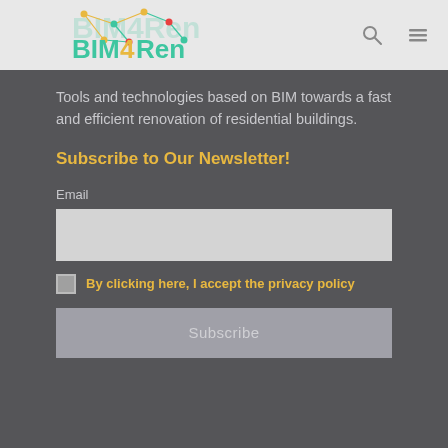[Figure (logo): BIM4Ren logo with teal/green text and yellow '4', with a network diagram illustration above in teal and yellow]
Tools and technologies based on BIM towards a fast and efficient renovation of residential buildings.
Subscribe to Our Newsletter!
Email
By clicking here, I accept the privacy policy
Subscribe